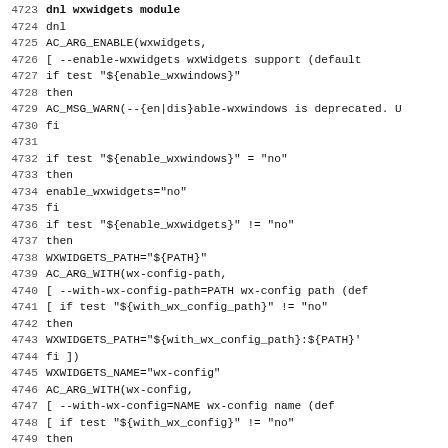Code listing lines 4724-4755: shell/autoconf script configuring wxwidgets support
4724 dnl
4725 AC_ARG_ENABLE(wxwidgets,
4726   [  --enable-wxwidgets      wxWidgets support (default
4727 if test "${enable_wxwindows}"
4728 then
4729   AC_MSG_WARN(--{en|dis}able-wxwindows is deprecated. U
4730 fi
4731 
4732 if test "${enable_wxwindows}" = "no"
4733 then
4734   enable_wxwidgets="no"
4735 fi
4736 if test "${enable_wxwidgets}" != "no"
4737 then
4738   WXWIDGETS_PATH="${PATH}"
4739   AC_ARG_WITH(wx-config-path,
4740     [    --with-wx-config-path=PATH wx-config path (def
4741     [ if test "${with_wx_config_path}" != "no"
4742       then
4743         WXWIDGETS_PATH="${with_wx_config_path}:${PATH}'
4744       fi ])
4745   WXWIDGETS_NAME="wx-config"
4746   AC_ARG_WITH(wx-config,
4747     [    --with-wx-config=NAME     wx-config name (def
4748     [ if test "${with_wx_config}" != "no"
4749       then
4750         WXWIDGETS_NAME="${with_wx_config}"
4751       fi ])
4752   # look for wx-config
4753   AC_PATH_PROG(WX_CONFIG, ${WXWIDGETS_NAME}, no, ${WXW
4754 if test "${WX_CONFIG}" != "no" -a "${CXX}" != ""
4755 then